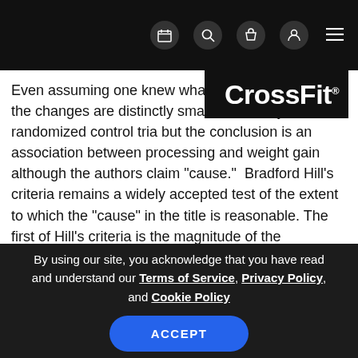CrossFit navigation bar with icons
Even assuming one knew what was being studied the changes are distinctly small. This study is a randomized control tria but the conclusion is an association between processing and weight gain although the authors claim "cause."  Bradford Hill's criteria remains a widely accepted test of the extent to which the “cause” in the title is reasonable. The first of Hill’s criteria is the magnitude of the
By using our site, you acknowledge that you have read and understand our Terms of Service, Privacy Policy, and Cookie Policy